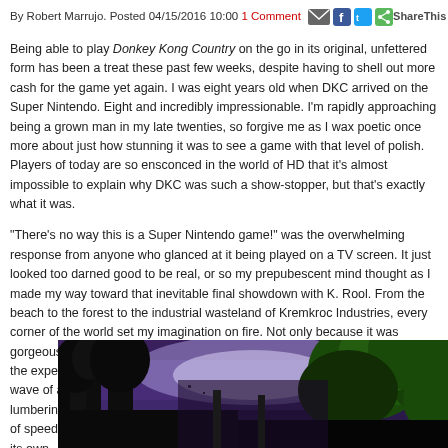By Robert Marrujo. Posted 04/15/2016 10:00 1 Comment ShareThis
Being able to play Donkey Kong Country on the go in its original, unfettered form has been a treat these past few weeks, despite having to shell out more cash for the game yet again. I was eight years old when DKC arrived on the Super Nintendo. Eight and incredibly impressionable. I'm rapidly approaching being a grown man in my late twenties, so forgive me as I wax poetic once more about just how stunning it was to see a game with that level of polish. Players of today are so ensconced in the world of HD that it's almost impossible to explain why DKC was such a show-stopper, but that's exactly what it was.
“There’s no way this is a Super Nintendo game!” was the overwhelming response from anyone who glanced at it being played on a TV screen. It just looked too darned good to be real, or so my prepubescent mind thought as I made my way toward that inevitable final showdown with K. Rool. From the beach to the forest to the industrial wasteland of Kremkroc Industries, every corner of the world set my imagination on fire. Not only because it was gorgeous, but because it was so fun to navigate. Fluidity was a huge part of the experience in DKC; bopping enemies in rapid succession, rolling like a wave of annihilation, all felt smooth as butter. Donkey Kong was more lumbering and Diddy more of a speedster, but both facilitated a fantastic sense of speed and agility that was distinctive enough to make the game stand out on its own.
[Figure (illustration): Screenshot from Donkey Kong Country showing jungle/forest scene with dark silhouetted trees and green foliage against a purple/blue sky background]